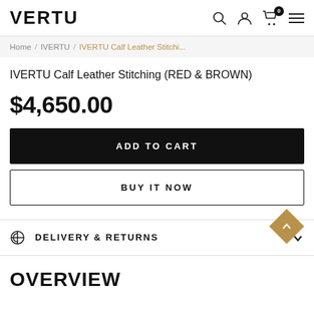VERTU
Home / IVERTU / IVERTU Calf Leather Stitchi...
IVERTU Calf Leather Stitching (RED & BROWN)
$4,650.00
ADD TO CART
BUY IT NOW
DELIVERY & RETURNS
OVERVIEW